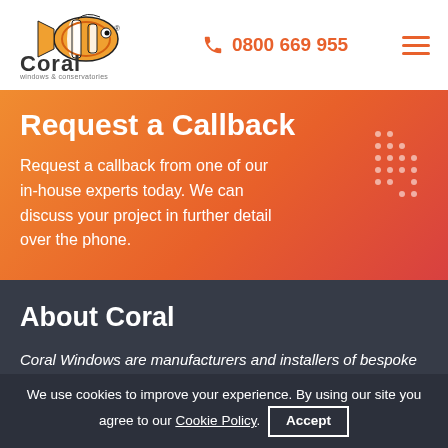[Figure (logo): Coral Windows & Conservatories logo with clownfish and company name]
0800 669 955
Request a Callback
Request a callback from one of our in-house experts today. We can discuss your project in further detail over the phone.
About Coral
Coral Windows are manufacturers and installers of bespoke
We use cookies to improve your experience. By using our site you agree to our Cookie Policy. Accept